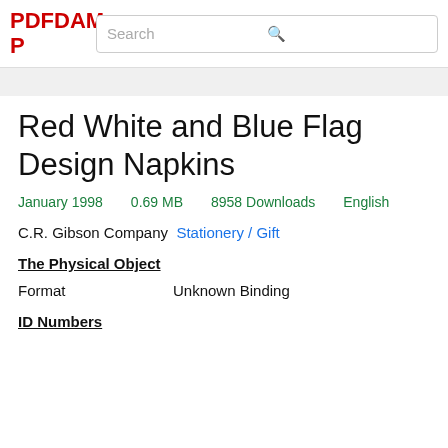PDFDAMP
Red White and Blue Flag Design Napkins
January 1998   0.69 MB   8958 Downloads   English
C.R. Gibson Company Stationery / Gift
The Physical Object
Format   Unknown Binding
ID Numbers